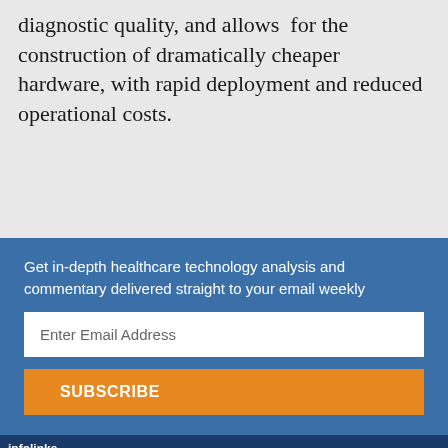diagnostic quality, and allows  for the construction of dramatically cheaper hardware, with rapid deployment and reduced operational costs.
Get in-depth healthcare technology analysis and commentary delivered straight to your email weekly
Enter Email Address
SUBSCRIBE
[Figure (infographic): An advertisement banner for BitLife mobile game showing rainbow graphic on left, 'WHEN REAL LIFE IS QUARANTINED' text, a sperm icon, BitLife logo in yellow, and emoji-style character with star eyes and mask on right. Has an infolinks label bar at top and close/question mark icons.]